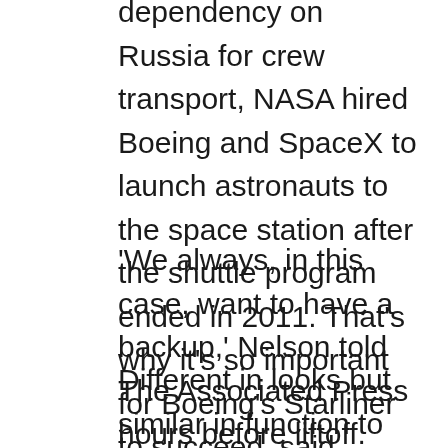dependency on Russia for crew transport, NASA hired Boeing and SpaceX to launch astronauts to the space station after the shuttle program ended in 2011. That's why it's so important for Boeing's Starliner to succeed, said NASA Administrator Bill Nelson.
'We always, in this case, want to have a backup,' Nelson told The Associated Press hours before liftoff.
Different in looks but similar in function to SpaceX's Dragon capsule, Boeing's fully automated capsule will attempt to